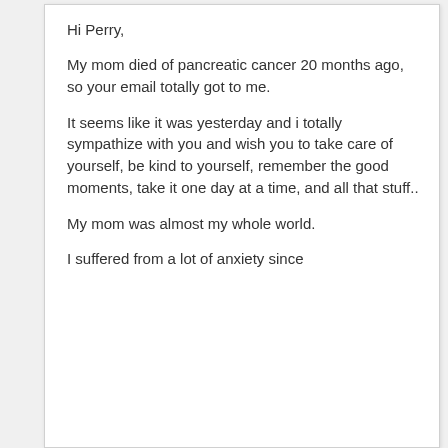Hi Perry,
My mom died of pancreatic cancer 20 months ago, so your email totally got to me.
It seems like it was yesterday and i totally sympathize with you and wish you to take care of yourself, be kind to yourself, remember the good moments, take it one day at a time, and all that stuff..
My mom was almost my whole world.
I suffered from a lot of anxiety since